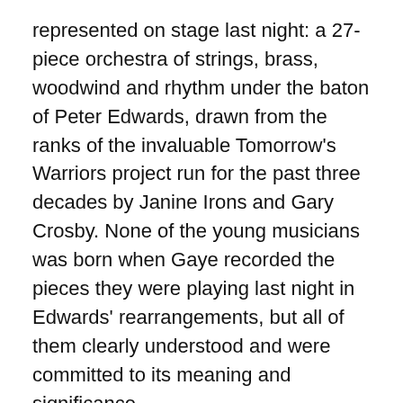represented on stage last night: a 27-piece orchestra of strings, brass, woodwind and rhythm under the baton of Peter Edwards, drawn from the ranks of the invaluable Tomorrow's Warriors project run for the past three decades by Janine Irons and Gary Crosby. None of the young musicians was born when Gaye recorded the pieces they were playing last night in Edwards' rearrangements, but all of them clearly understood and were committed to its meaning and significance.
The 28th member of the ensemble, the South London-born soul singer Noel McKoy, brought a depth of experience as well as great vocal expertise to the role of Gaye. Without attempting an imitation, he inhabited the songs and negotiated their contours beautifully. But he was one among equals with the other musicians. A special